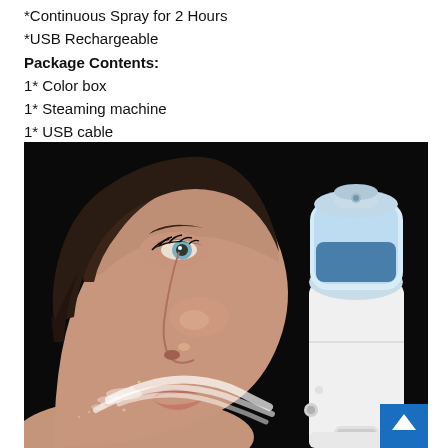*Continuous Spray for 2 Hours
*USB Rechargeable
Package Contents:
1* Color box
1* Steaming machine
1* USB cable
[Figure (photo): Side profile of a woman's face receiving a fine mist spray from a handheld USB rechargeable nano facial steamer device with a blue water tank and white body, set against a black background.]